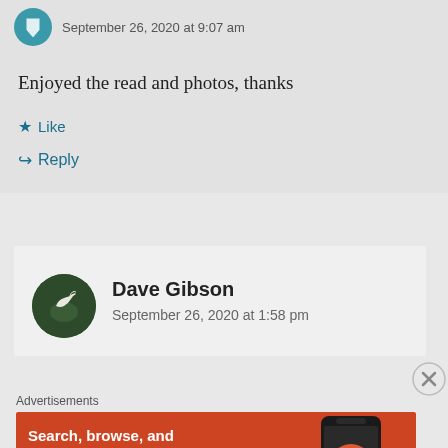September 26, 2020 at 9:07 am
Enjoyed the read and photos, thanks
Like
Reply
Dave Gibson
September 26, 2020 at 1:58 pm
Advertisements
[Figure (infographic): DuckDuckGo advertisement banner: orange background with text 'Search, browse, and email with more privacy. All in One Free App' and image of a smartphone with DuckDuckGo logo]